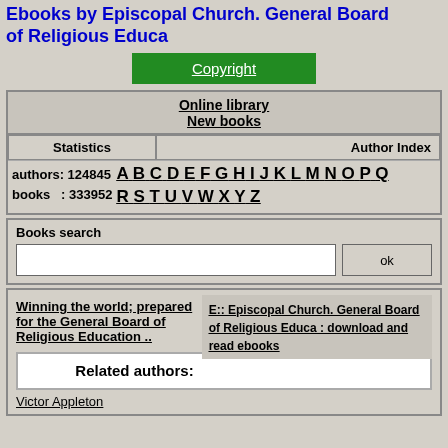Ebooks by Episcopal Church. General Board of Religious Educa
Copyright
Online library
New books
| Statistics | Author Index |
| --- | --- |
| authors: 124845 | A B C D E F G H I J K L M N O P Q
R S T U V W X Y Z |
Books search
E:: Episcopal Church. General Board of Religious Educa : download and read ebooks
Winning the world; prepared for the General Board of Religious Education ..
Related authors:
Victor Appleton